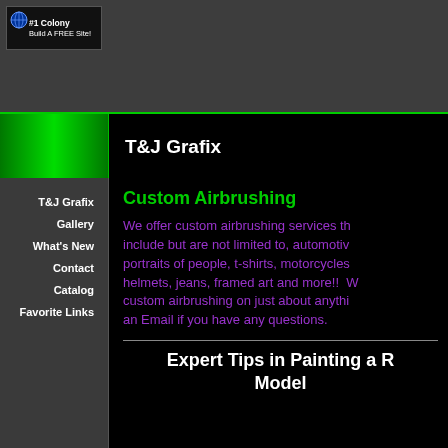[Figure (logo): #1 Colony - Build A FREE Site! logo badge with globe icon]
T&J Grafix
T&J Grafix
Gallery
What's New
Contact
Catalog
Favorite Links
Custom Airbrushing
We offer custom airbrushing services that include but are not limited to, automotive, portraits of people, t-shirts, motorcycles, helmets, jeans, framed art and more!!  We custom airbrushing on just about anything. Send an Email if you have any questions.
Expert Tips in Painting a R... Model